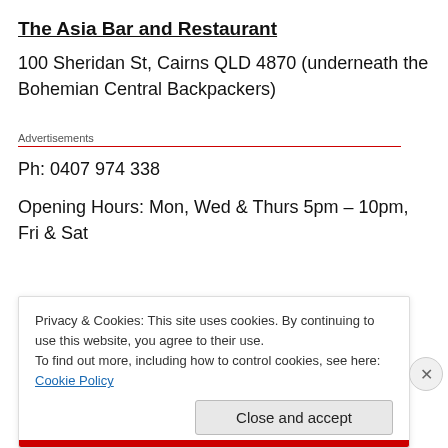The Asia Bar and Restaurant
100 Sheridan St, Cairns QLD 4870 (underneath the Bohemian Central Backpackers)
Advertisements
Ph: 0407 974 338
Opening Hours: Mon, Wed & Thurs 5pm – 10pm, Fri & Sat
Privacy & Cookies: This site uses cookies. By continuing to use this website, you agree to their use. To find out more, including how to control cookies, see here: Cookie Policy
Close and accept